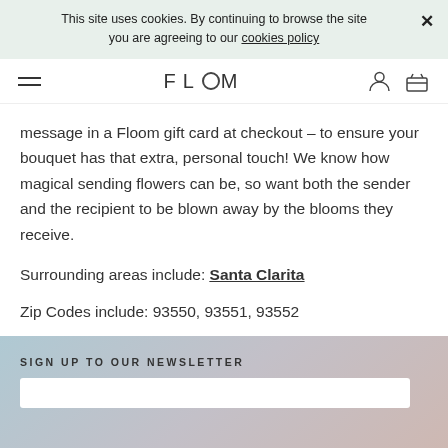This site uses cookies. By continuing to browse the site you are agreeing to our cookies policy
FLOOM
message in a Floom gift card at checkout – to ensure your bouquet has that extra, personal touch! We know how magical sending flowers can be, so want both the sender and the recipient to be blown away by the blooms they receive.
Surrounding areas include: Santa Clarita
Zip Codes include: 93550, 93551, 93552
SIGN UP TO OUR NEWSLETTER